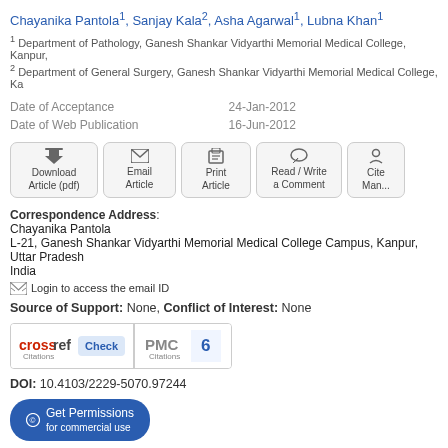Chayanika Pantola1, Sanjay Kala2, Asha Agarwal1, Lubna Khan1
1 Department of Pathology, Ganesh Shankar Vidyarthi Memorial Medical College, Kanpur,
2 Department of General Surgery, Ganesh Shankar Vidyarthi Memorial Medical College, Ka
Date of Acceptance 24-Jan-2012
Date of Web Publication 16-Jun-2012
[Figure (screenshot): Row of action buttons: Download Article (pdf), Email Article, Print Article, Read/Write a Comment, Cite/Man...]
Correspondence Address:
Chayanika Pantola
L-21, Ganesh Shankar Vidyarthi Memorial Medical College Campus, Kanpur, Uttar Pradesh
India
Login to access the email ID
Source of Support: None, Conflict of Interest: None
[Figure (other): CrossRef Citations Check button and PMC Citations count of 6]
DOI: 10.4103/2229-5070.97244
Get Permissions for commercial use